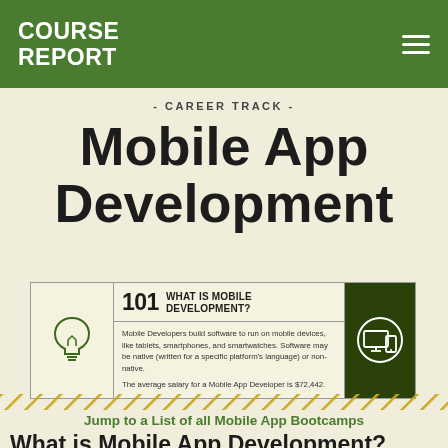COURSE REPORT
- CAREER TRACK -
Mobile App Development
[Figure (infographic): Info box with 101 label explaining 'WHAT IS MOBILE DEVELOPMENT?'. Mobile Developers build software to run on mobile devices, like tablets, smartphones, and smartwatches. Software may be native (written for a specific platform's language) or non-native. The average salary for a Mobile App Developer is $72,442. Left side has lightbulb icon, right side has dark green panel with devices icon.]
Jump to a List of all Mobile App Bootcamps
What is Mobile App Development?